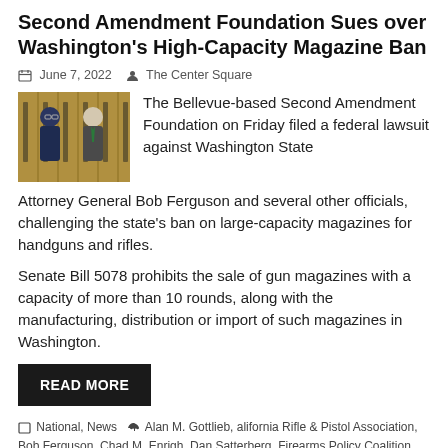Second Amendment Foundation Sues over Washington's High-Capacity Magazine Ban
June 7, 2022   The Center Square
[Figure (photo): Two men in suits standing in front of a wall with firearms]
The Bellevue-based Second Amendment Foundation on Friday filed a federal lawsuit against Washington State Attorney General Bob Ferguson and several other officials, challenging the state's ban on large-capacity magazines for handguns and rifles.
Senate Bill 5078 prohibits the sale of gun magazines with a capacity of more than 10 rounds, along with the manufacturing, distribution or import of such magazines in Washington.
READ MORE
National, News   Alan M. Gottlieb, alifornia Rifle & Pistol Association, Bob Ferguson, Chad M. Enrigh, Dan Satterberg, Firearms Policy Coalition, Fourteenth Amendment, Gabriella Sullivan, Institute for Legislative Action, Jay